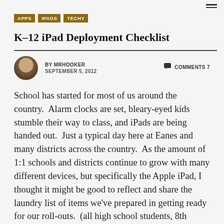≡
APPS  IPADS  TECHY
K–12 iPad Deployment Checklist
BY MRHOOKER   SEPTEMBER 5, 2012   COMMENTS 7
School has started for most of us around the country.  Alarm clocks are set, bleary-eyed kids stumble their way to class, and iPads are being handed out.  Just a typical day here at Eanes and many districts across the country.  As the amount of 1:1 schools and districts continue to grow with many different devices, but specifically the Apple iPad, I thought it might be good to reflect and share the laundry list of items we've prepared in getting ready for our roll-outs.  (all high school students, 8th graders, and 2 grade levels at the elementary schools